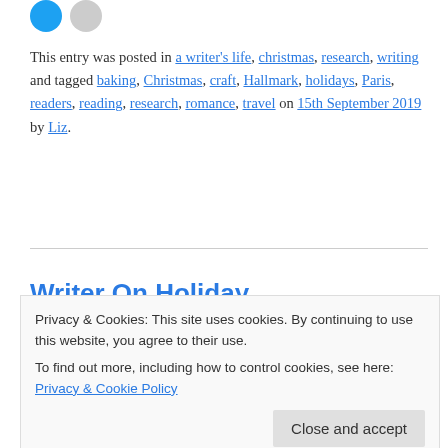[Figure (other): Two small social share icon circles (blue and gray) at top left]
This entry was posted in a writer's life, christmas, research, writing and tagged baking, Christmas, craft, Hallmark, holidays, Paris, readers, reading, research, romance, travel on 15th September 2019 by Liz.
Writer On Holiday
Writer on holiday is  not a natural role for me. I admit it. I'm
Privacy & Cookies: This site uses cookies. By continuing to use this website, you agree to their use.
To find out more, including how to control cookies, see here: Privacy & Cookie Policy
Well, for me it is a delight. And The Birdwatcher is kind